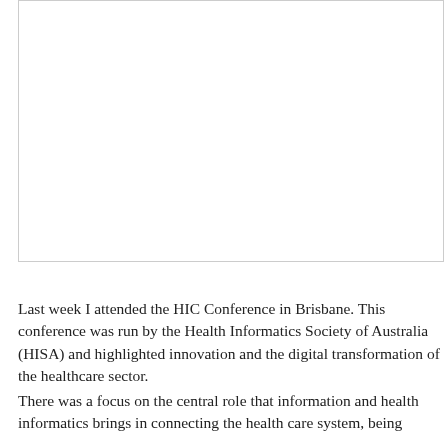[Figure (other): Large white rectangular image/photo area with a thin border, content not visible (appears blank or image not loaded)]
Last week I attended the HIC Conference in Brisbane. This conference was run by the Health Informatics Society of Australia (HISA) and highlighted innovation and the digital transformation of the healthcare sector.
There was a focus on the central role that information and health informatics brings in connecting the health care system, being